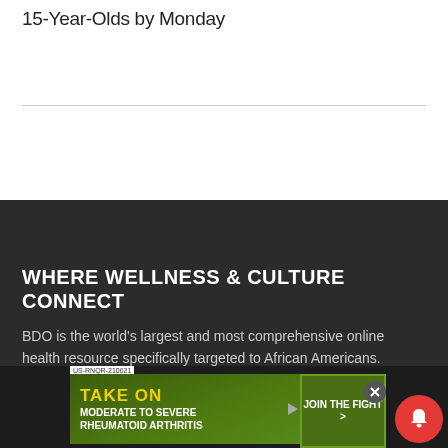15-Year-Olds by Monday
WHERE WELLNESS & CULTURE CONNECT
BDO is the world's largest and most comprehensive online health resource specifically targeted to African Americans. BDO understands that the uniqueness of Black culture – our he
[Figure (screenshot): Advertisement banner for 'Take On Moderate to Severe Rheumatoid Arthritis' with a 'Join the Fight' button on a green background. Label: US-RNQR-210621]